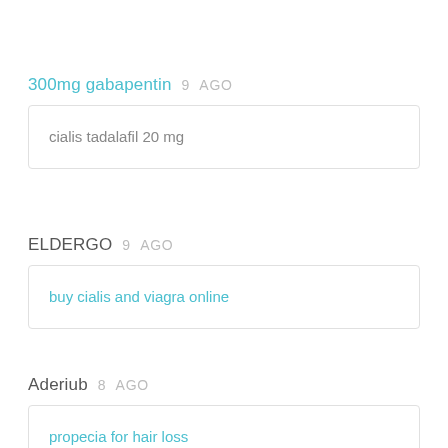300mg gabapentin  9  AGO
cialis tadalafil 20 mg
ELDERGO  9  AGO
buy cialis and viagra online
Aderiub  8  AGO
propecia for hair loss